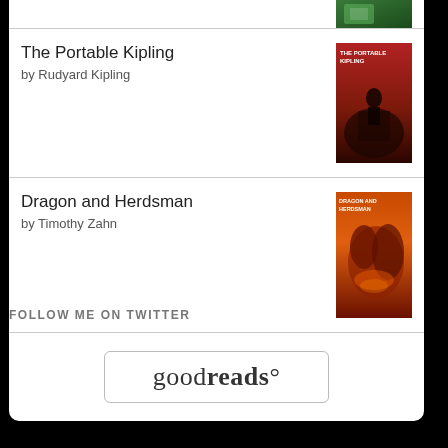[Figure (illustration): Partial book cover at top (green, cut off)]
The Portable Kipling by Rudyard Kipling
Dragon and Herdsman by Timothy Zahn
[Figure (logo): goodreads logo with rounded rectangle border]
FOLLOW ME ON TWITTER